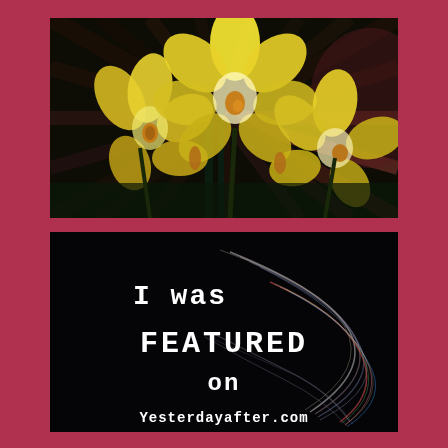[Figure (illustration): Painting of three yellow lily/plumeria flowers with white highlights on a dark background with radiating brushstrokes in dark brown and muted red/purple tones]
[Figure (infographic): Dark background with colorful swirling neon lines and text reading 'I was FEATURED on Yesterdayafter.com' in white typewriter-style font]